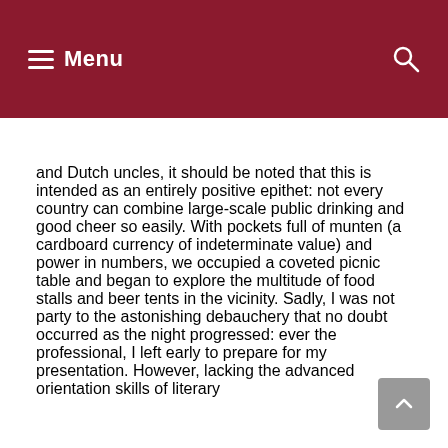Menu
and Dutch uncles, it should be noted that this is intended as an entirely positive epithet: not every country can combine large-scale public drinking and good cheer so easily. With pockets full of munten (a cardboard currency of indeterminate value) and power in numbers, we occupied a coveted picnic table and began to explore the multitude of food stalls and beer tents in the vicinity. Sadly, I was not party to the astonishing debauchery that no doubt occurred as the night progressed: ever the professional, I left early to prepare for my presentation. However, lacking the advanced orientation skills of literary